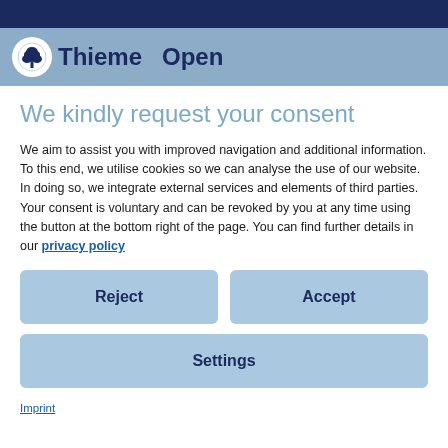[Figure (logo): Thieme Open logo with tree emblem in circular badge, company name and 'Open' text on blue-grey header band]
We kindly request your consent
We aim to assist you with improved navigation and additional information. To this end, we utilise cookies so we can analyse the use of our website. In doing so, we integrate external services and elements of third parties. Your consent is voluntary and can be revoked by you at any time using the button at the bottom right of the page. You can find further details in our privacy policy
Reject
Accept
Settings
Imprint